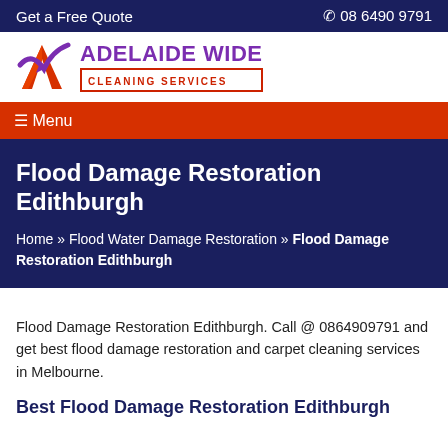Get a Free Quote   ☎ 08 6490 9791
[Figure (logo): Adelaide Wide Cleaning Services logo with stylized red and orange A/checkmark symbol and purple/violet company name text]
☰ Menu
Flood Damage Restoration Edithburgh
Home » Flood Water Damage Restoration » Flood Damage Restoration Edithburgh
Flood Damage Restoration Edithburgh. Call @ 0864909791 and get best flood damage restoration and carpet cleaning services in Melbourne.
Best Flood Damage Restoration Edithburgh